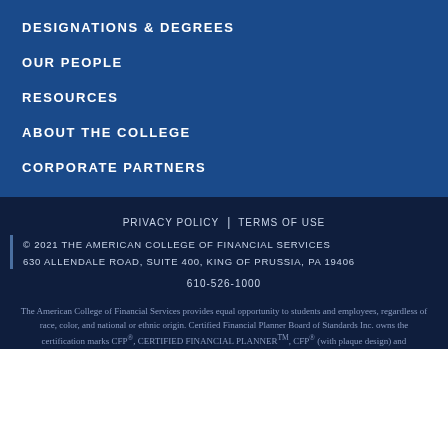DESIGNATIONS & DEGREES
OUR PEOPLE
RESOURCES
ABOUT THE COLLEGE
CORPORATE PARTNERS
PRIVACY POLICY | TERMS OF USE © 2021 THE AMERICAN COLLEGE OF FINANCIAL SERVICES 630 ALLENDALE ROAD, SUITE 400, KING OF PRUSSIA, PA 19406 610-526-1000 The American College of Financial Services provides equal opportunity to students and employees, regardless of race, color, and national or ethnic origin. Certified Financial Planner Board of Standards Inc. owns the certification marks CFP®, CERTIFIED FINANCIAL PLANNER™, CFP® (with plaque design) and